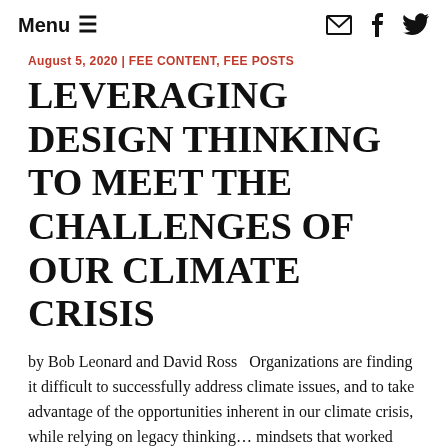Menu  ☰
August 5, 2020 | FEE CONTENT, FEE POSTS
LEVERAGING DESIGN THINKING TO MEET THE CHALLENGES OF OUR CLIMATE CRISIS
by Bob Leonard and David Ross   Organizations are finding it difficult to successfully address climate issues, and to take advantage of the opportunities inherent in our climate crisis, while relying on legacy thinking… mindsets that worked effectively in less turbulent times. Design thinking enables new, innovative approaches.